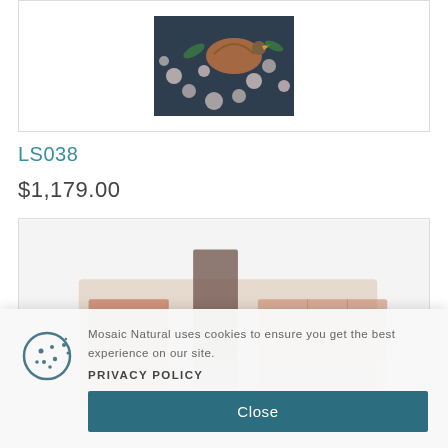[Figure (photo): Top portion of product card showing a tapestry/mosaic image with floral and bird motifs on dark background, cropped]
LS038
$1,179.00
[Figure (photo): Second product card showing a blurred mosaic/tile product image with terracotta and brown tones, partially visible]
Mosaic Natural uses cookies to ensure you get the best experience on our site.
PRIVACY POLICY
Close